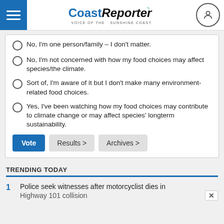Coast Reporter — Voice of the Sunshine Coast
No, I'm one person/family – I don't matter.
No, I'm not concerned with how my food choices may affect species/the climate.
Sort of, I'm aware of it but I don't make many environment-related food choices.
Yes, I've been watching how my food choices may contribute to climate change or may affect species' longterm sustainability.
TRENDING TODAY
1  Police seek witnesses after motorcyclist dies in Highway 101 collision